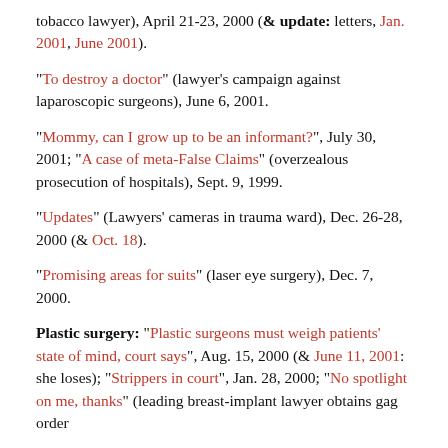tobacco lawyer), April 21-23, 2000 (& update: letters, Jan. 2001, June 2001).
"To destroy a doctor" (lawyer's campaign against laparoscopic surgeons), June 6, 2001.
"Mommy, can I grow up to be an informant?", July 30, 2001; "A case of meta-False Claims" (overzealous prosecution of hospitals), Sept. 9, 1999.
"Updates" (Lawyers' cameras in trauma ward), Dec. 26-28, 2000 (& Oct. 18).
"Promising areas for suits" (laser eye surgery), Dec. 7, 2000.
Plastic surgery: "Plastic surgeons must weigh patients' state of mind, court says", Aug. 15, 2000 (& June 11, 2001: she loses); "Strippers in court", Jan. 28, 2000; "No spotlight on me, thanks" (leading breast-implant lawyer obtains gag order ...